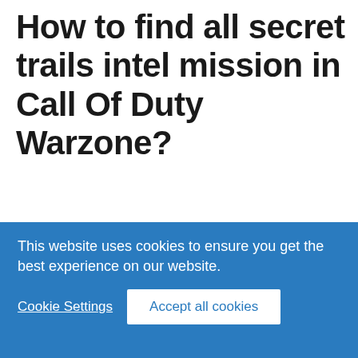How to find all secret trails intel mission in Call Of Duty Warzone?
Next on how to ffind all secret trails intel mission in Call Of Duty Warzone, we prepared a breakdown of all the locations of secret traces of this mission, they are a total of 6 locations and below we describe them
This website uses cookies to ensure you get the best experience on our website.